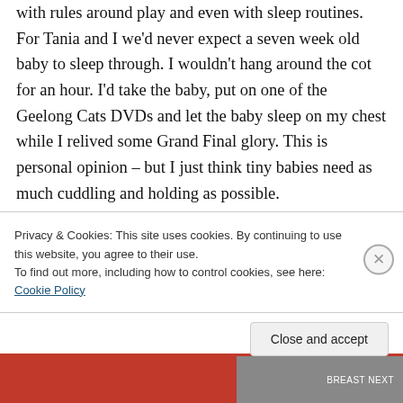with rules around play and even with sleep routines. For Tania and I we'd never expect a seven week old baby to sleep through. I wouldn't hang around the cot for an hour. I'd take the baby, put on one of the Geelong Cats DVDs and let the baby sleep on my chest while I relived some Grand Final glory. This is personal opinion – but I just think tiny babies need as much cuddling and holding as possible.
We've co-slept with all four boys. They always
Privacy & Cookies: This site uses cookies. By continuing to use this website, you agree to their use.
To find out more, including how to control cookies, see here: Cookie Policy